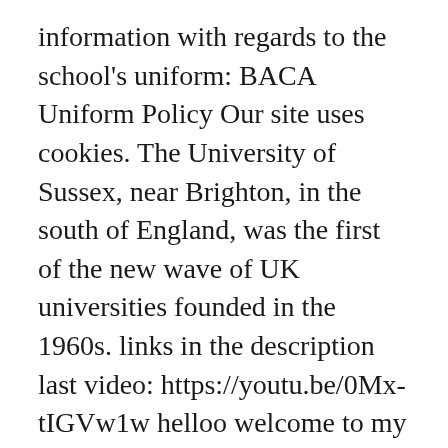information with regards to the school's uniform: BACA Uniform Policy Our site uses cookies. The University of Sussex, near Brighton, in the south of England, was the first of the new wave of UK universities founded in the 1960s. links in the description last video: https://youtu.be/0Mx-tIGVw1w helloo welcome to my first year dorm room at uni! University of Sussex Reputation. This post reviews some of its significant features as a medical school. 1147242 University of Sussex Students' Union Trading Ltd - Company No. Park village is still run down and terrible. Brighton is only one hour from London and well connected to airports. Brighton is a coastal city famed for its individuality and